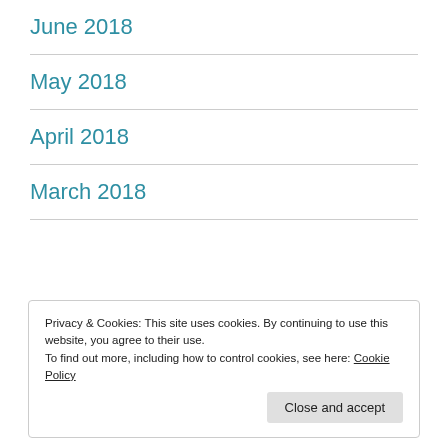June 2018
May 2018
April 2018
March 2018
Privacy & Cookies: This site uses cookies. By continuing to use this website, you agree to their use.
To find out more, including how to control cookies, see here: Cookie Policy